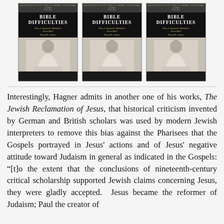[Figure (illustration): Three identical book covers of 'Bible Difficulties: How to Approach Difficulties in the Bible' by Edward D. Andrews, displayed side by side. Each cover has a dark background with gold title text and an image of a person.]
Interestingly, Hagner admits in another one of his works, The Jewish Reclamation of Jesus, that historical criticism invented by German and British scholars was used by modern Jewish interpreters to remove this bias against the Pharisees that the Gospels portrayed in Jesus' actions and of Jesus' negative attitude toward Judaism in general as indicated in the Gospels: “[t]o the extent that the conclusions of nineteenth-century critical scholarship supported Jewish claims concerning Jesus, they were gladly accepted. Jesus became the reformer of Judaism; Paul the creator of